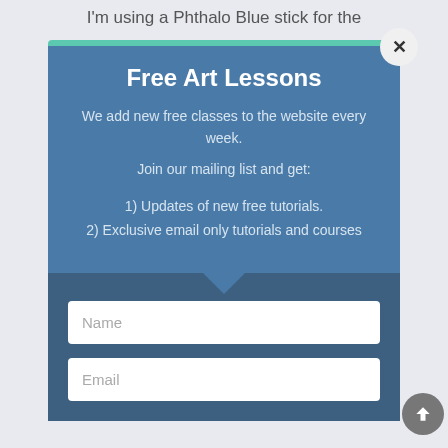I'm using a Phthalo Blue stick for the
Free Art Lessons
We add new free classes to the website every week.
Join our mailing list and get:
1) Updates of new free tutorials.
2) Exclusive email only tutorials and courses
Name
Email